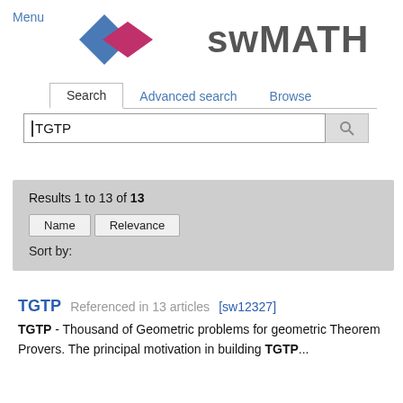Menu
[Figure (logo): swMATH logo with two diamond shapes (blue and pink) followed by the text swMATH in large gray letters]
Search | Advanced search | Browse
TGTP (search input)
Results 1 to 13 of 13
Sort by: Name | Relevance
TGTP Referenced in 13 articles [sw12327]
TGTP - Thousand of Geometric problems for geometric Theorem Provers. The principal motivation in building TGTP...